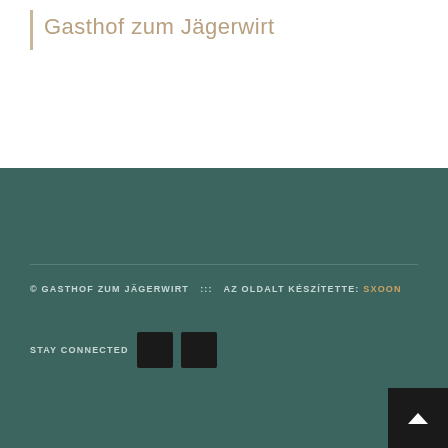Gasthof zum Jägerwirt
© GASTHOF ZUM JÄGERWIRT   :::   AZ OLDALT KÉSZÍTETTE: SXOON
STAY CONNECTED